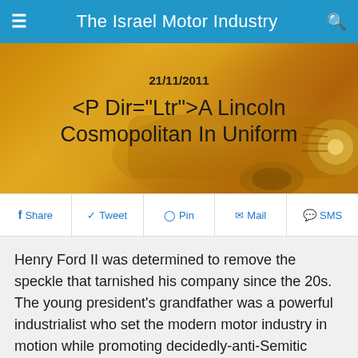The Israel Motor Industry
[Figure (illustration): Golden/orange vintage Lincoln Cosmopolitan car hero image with date and article title overlay]
<P Dir="Ltr">A Lincoln Cosmopolitan In Uniform
21/11/2011
Share  Tweet  Pin  Mail  SMS
Henry Ford II was determined to remove the speckle that tarnished his company since the 20s. The young president's grandfather was a powerful  industrialist who set the modern motor industry in motion while promoting decidedly-anti-Semitic initiatives of his